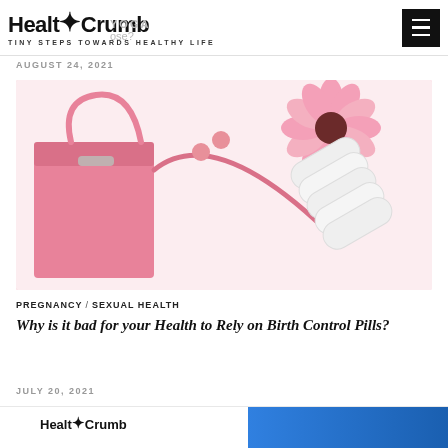HealthCrumb — TINY STEPS TOWARDS HEALTHY LIFE
AUGUST 24, 2021
[Figure (photo): Pink handbag, pink flower (gerbera daisy), pink pills, and white sanitary pads arranged on a white background — illustrating birth control and feminine health products]
PREGNANCY / SEXUAL HEALTH
Why is it bad for your Health to Rely on Birth Control Pills?
JULY 20, 2021
[Figure (logo): HealthCrumb logo at bottom of page with blue banner]